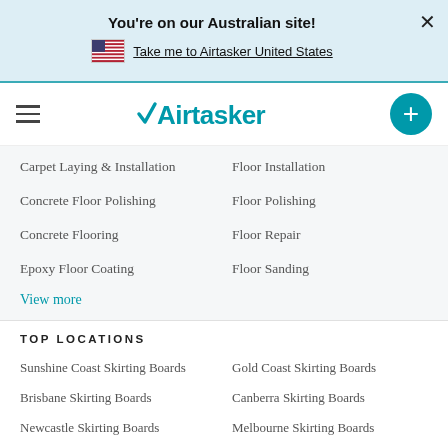You're on our Australian site!
Take me to Airtasker United States
[Figure (logo): Airtasker logo with teal wordmark and arrow icon]
Carpet Laying & Installation
Floor Installation
Concrete Floor Polishing
Floor Polishing
Concrete Flooring
Floor Repair
Epoxy Floor Coating
Floor Sanding
View more
TOP LOCATIONS
Sunshine Coast Skirting Boards
Gold Coast Skirting Boards
Brisbane Skirting Boards
Canberra Skirting Boards
Newcastle Skirting Boards
Melbourne Skirting Boards
Adelaide Skirting Boards
Sydney Skirting Boards